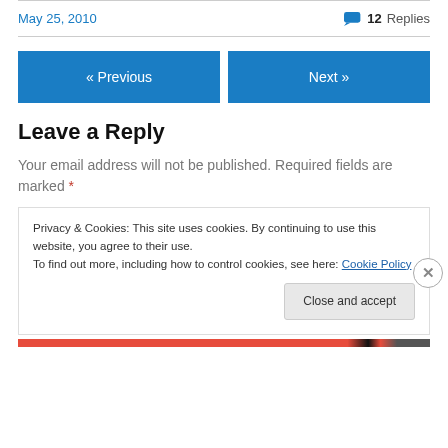May 25, 2010
12 Replies
« Previous
Next »
Leave a Reply
Your email address will not be published. Required fields are marked *
Privacy & Cookies: This site uses cookies. By continuing to use this website, you agree to their use. To find out more, including how to control cookies, see here: Cookie Policy
Close and accept